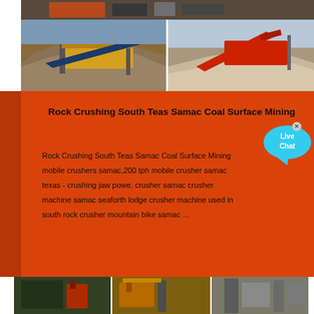[Figure (photo): Top row: industrial rock crushing and mining equipment photos. Top strip shows crusher machinery. Middle row shows two photos: left - mobile screening/crushing plant with large gravel pile; right - red mobile conveyor/crusher unit with gravel pile in background.]
Rock Crushing South Teas Samac Coal Surface Mining
Rock Crushing South Teas Samac Coal Surface Mining mobile crushers samac,200 tph mobile crusher samac texas - crushing jaw powe. crusher samac crusher machine samac seaforth lodge crusher machine used in south rock crusher mountain bike samac ...
[Figure (photo): Bottom image showing industrial crushing plant facility with multiple pieces of equipment including crushers and conveyors at a mining site.]